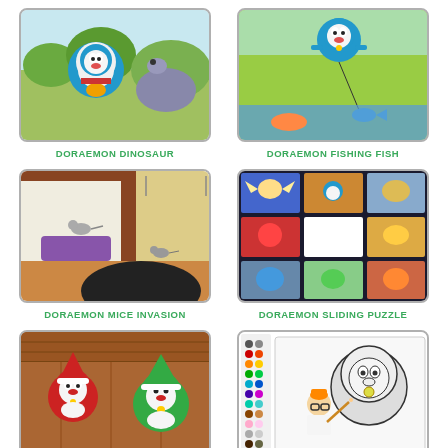[Figure (illustration): Doraemon with dinosaur scene, colorful anime art]
DORAEMON DINOSAUR
[Figure (illustration): Doraemon fishing fish scene, anime style]
DORAEMON FISHING FISH
[Figure (illustration): Doraemon mice invasion scene, cartoon style]
DORAEMON MICE INVASION
[Figure (illustration): Doraemon sliding puzzle with multiple anime panels]
DORAEMON SLIDING PUZZLE
[Figure (illustration): Doraemon gift box scene with Christmas costumes]
DORAEMON GIFT BOX
[Figure (illustration): Doraemon Nobita and coloring game screenshot]
DORAEMON NOBITA AND COLORING